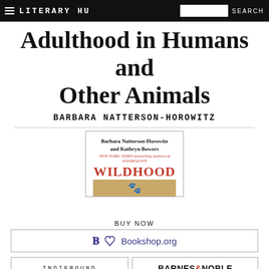LITERARY HU   SEARCH
Adulthood in Humans and Other Animals
BARBARA NATTERSON-HOROWITZ
[Figure (illustration): Book cover for WILDHOOD by Barbara Natterson-Horowitz and Kathryn Bowers, NEW YORK TIMES bestselling authors of ZOOBIQUITY. Red title text on white background with animal image at bottom.]
BUY NOW
Bookshop.org
INDIEBOUND
BARNES & NOBLE